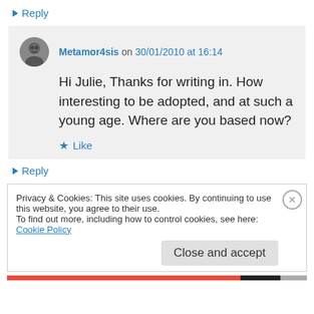↪ Reply
Metamor4sis on 30/01/2010 at 16:14
Hi Julie, Thanks for writing in. How interesting to be adopted, and at such a young age. Where are you based now?
★ Like
↪ Reply
Privacy & Cookies: This site uses cookies. By continuing to use this website, you agree to their use.
To find out more, including how to control cookies, see here: Cookie Policy
Close and accept